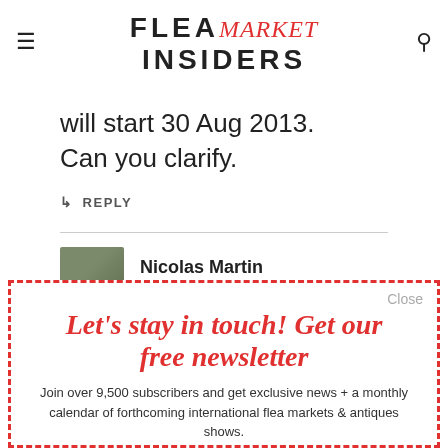FLEA market INSIDERS
will start 30 Aug 2013. Can you clarify.
↳ REPLY
Nicolas Martin
[Figure (photo): Avatar photo of Nicolas Martin, partially visible behind newsletter overlay]
Let's stay in touch! Get our free newsletter
Join over 9,500 subscribers and get exclusive news + a monthly calendar of forthcoming international flea markets & antiques shows.
Right in your inbox, no more than twice a month. Unsubscribe
Close